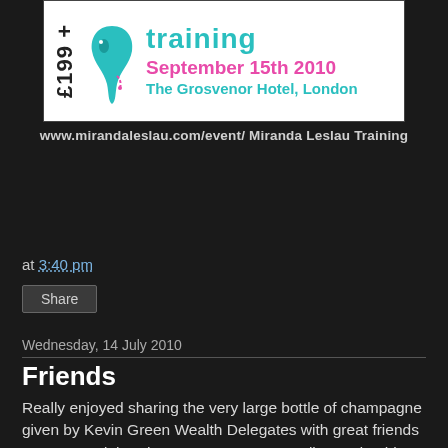[Figure (illustration): Promotional banner for Miranda Leslau Training event on September 15th 2010 at The Grosvenor Hotel, London. Shows a teal footprint/seahorse logo, price £199+, teal 'training' text, pink date text, and teal venue text on white background.]
www.mirandaleslau.com/event/ Miranda Leslau Training
at 3:40 pm
Share
Wednesday, 14 July 2010
Friends
Really enjoyed sharing the very large bottle of champagne given by Kevin Green Wealth Delegates with great friends ;- Owen , Adele, Shannon, Ness, Greg , Silas And Ashley